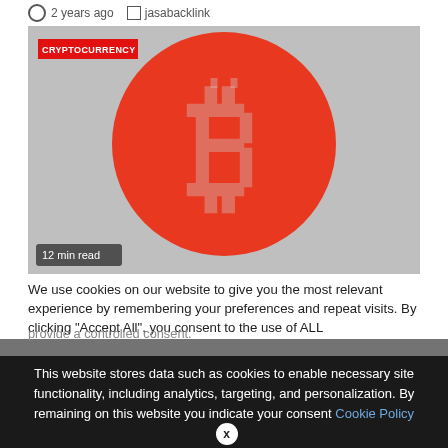2 years ago  jasabacklink
[Figure (photo): Red Bitcoin symbol (large orange-red circle with white B logo) on grey background, with CRYPTOCURRENCY badge in top-left and '12 min read' badge in bottom-left]
We use cookies on our website to give you the most relevant experience by remembering your preferences and repeat visits. By clicking "Accept All", you consent to the use of ALL provide a controlled consent.
This website stores data such as cookies to enable necessary site functionality, including analytics, targeting, and personalization. By remaining on this website you indicate your consent Cookie Policy  X